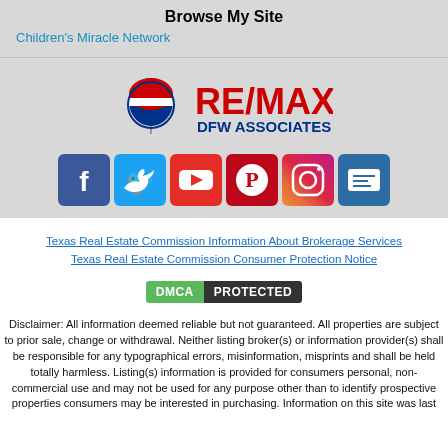Browse My Site
Children's Miracle Network
[Figure (logo): RE/MAX DFW Associates logo with balloon icon]
[Figure (infographic): Social media icons: Facebook, Twitter, YouTube, Pinterest, Instagram, and a card/contact icon]
Texas Real Estate Commission Information About Brokerage Services
Texas Real Estate Commission Consumer Protection Notice
[Figure (other): DMCA Protected badge]
Disclaimer: All information deemed reliable but not guaranteed. All properties are subject to prior sale, change or withdrawal. Neither listing broker(s) or information provider(s) shall be responsible for any typographical errors, misinformation, misprints and shall be held totally harmless. Listing(s) information is provided for consumers personal, non-commercial use and may not be used for any purpose other than to identify prospective properties consumers may be interested in purchasing. Information on this site was last updated 09/09/2022. The listing information on this page last changed